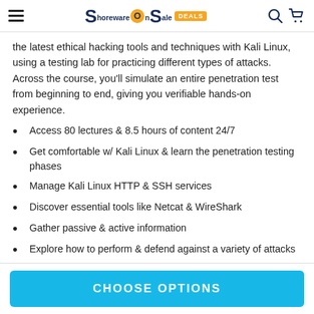ShorewareOnSale DEALS
the latest ethical hacking tools and techniques with Kali Linux, using a testing lab for practicing different types of attacks. Across the course, you'll simulate an entire penetration test from beginning to end, giving you verifiable hands-on experience.
Access 80 lectures & 8.5 hours of content 24/7
Get comfortable w/ Kali Linux & learn the penetration testing phases
Manage Kali Linux HTTP & SSH services
Discover essential tools like Netcat & WireShark
Gather passive & active information
Explore how to perform & defend against a variety of attacks
Receive monthly virtual machines as a hacking challenge
CHOOSE OPTIONS